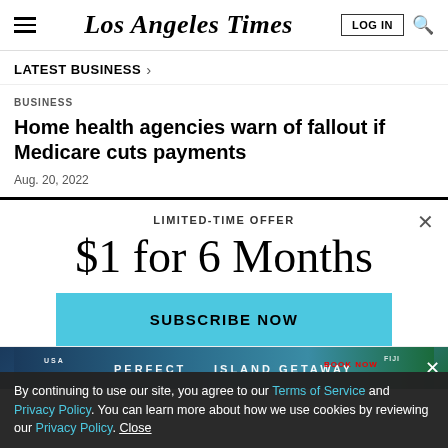Los Angeles Times
LATEST BUSINESS >
BUSINESS
Home health agencies warn of fallout if Medicare cuts payments
Aug. 20, 2022
LIMITED-TIME OFFER
$1 for 6 Months
SUBSCRIBE NOW
By continuing to use our site, you agree to our Terms of Service and Privacy Policy. You can learn more about how we use cookies by reviewing our Privacy Policy. Close